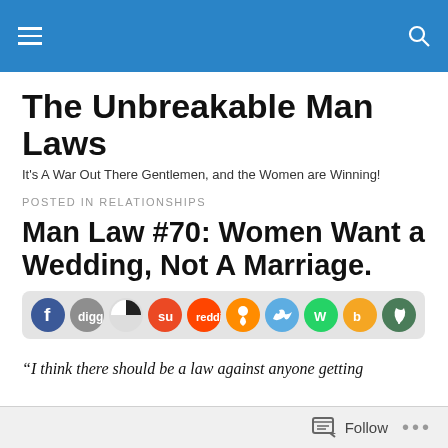The Unbreakable Man Laws — site header navigation bar
The Unbreakable Man Laws
It's A War Out There Gentlemen, and the Women are Winning!
POSTED IN RELATIONSHIPS
Man Law #70: Women Want a Wedding, Not A Marriage.
[Figure (infographic): Social sharing icon bar with circular icons for Facebook, Digg, Delicious/ShareThis, StumbleUpon, Reddit, FriendFeed/Newsvine, Twitter/Hootsuite, WhatsApp/Line, Bebo, and NatureNews]
“I think there should be a law against anyone getting
Follow button bar at bottom of page